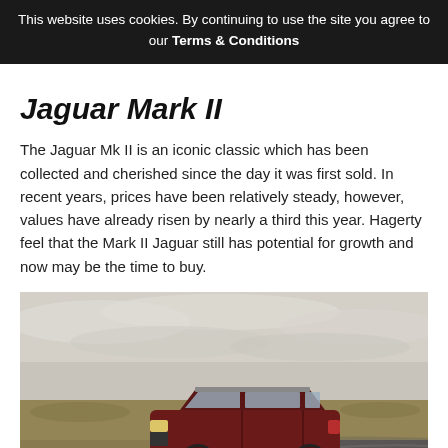This website uses cookies. By continuing to use the site you agree to our Terms & Conditions
Jaguar Mark II
The Jaguar Mk II is an iconic classic which has been collected and cherished since the day it was first sold. In recent years, prices have been relatively steady, however, values have already risen by nearly a third this year. Hagerty feel that the Mark II Jaguar still has potential for growth and now may be the time to buy.
[Figure (photo): A dark red classic SUV (Land Rover Discovery) driving on a curved road through open moorland under an overcast sky.]